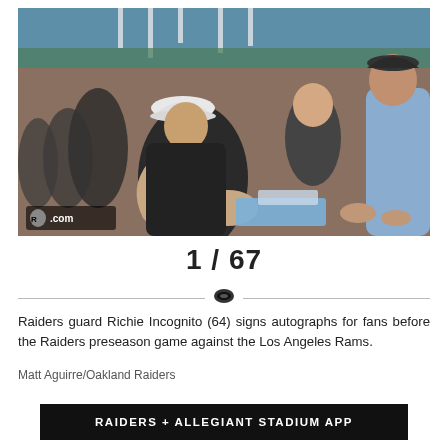[Figure (photo): Raiders guard Richie Incognito (64) signing autographs for fans before a preseason game. He is a heavily tattooed player wearing a white cap and dark sleeveless shirt, surrounded by fans at a stadium. A Raiders.com watermark is visible in the lower left corner of the photo.]
1 / 67
Raiders guard Richie Incognito (64) signs autographs for fans before the Raiders preseason game against the Los Angeles Rams.
Matt Aguirre/Oakland Raiders
RAIDERS + ALLEGIANT STADIUM APP